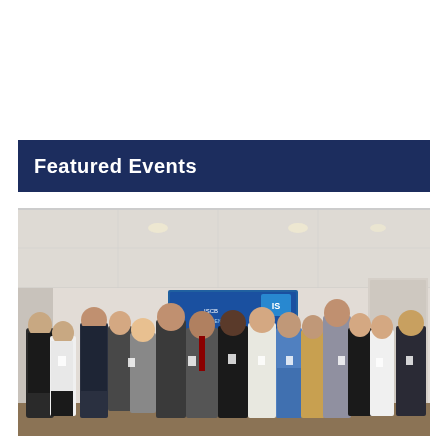Featured Events
[Figure (photo): Group photo of approximately 15-16 people standing together in a conference room, wearing lanyards/badges, in front of a banner with 'ISCB' logo and text. Mix of professional attire. Indoor setting with drop ceiling and recessed lighting.]